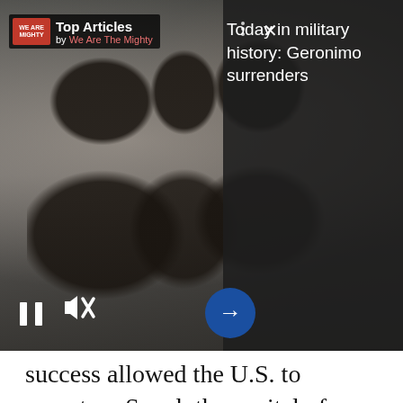[Figure (screenshot): Embedded article recommendation widget from 'We Are The Mighty' showing a black and white historical photo of armed figures (likely Native American warriors), with 'Top Articles' header, a right panel with dark overlay reading 'Today in military history: Geronimo surrenders', pause/mute controls, and a blue arrow button.]
success allowed the U.S. to recapture Seoul, the capital of South Korea.
Unfortunately, the intervention of the Chinese military stalled the U.S. and South Korean advances, preventing them from achieving a decisive victory in the war, which would continue for another brutal three years.